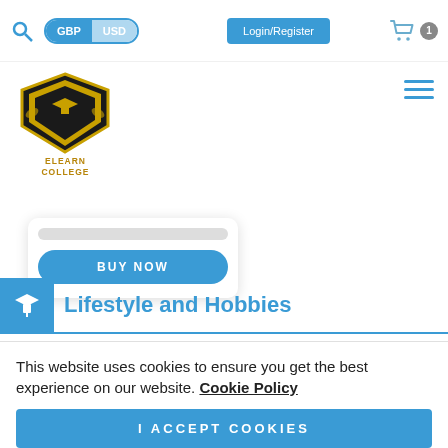GBP  USD  Login/Register  [cart: 1]
[Figure (logo): Elearn College shield logo with graduation cap, gold and black, with text ELEARN COLLEGE]
[Figure (screenshot): Partial product card with a BUY NOW button in blue]
Lifestyle and Hobbies
[Figure (screenshot): Two blue banner strips at the bottom of the section]
This website uses cookies to ensure you get the best experience on our website. Cookie Policy
I ACCEPT COOKIES